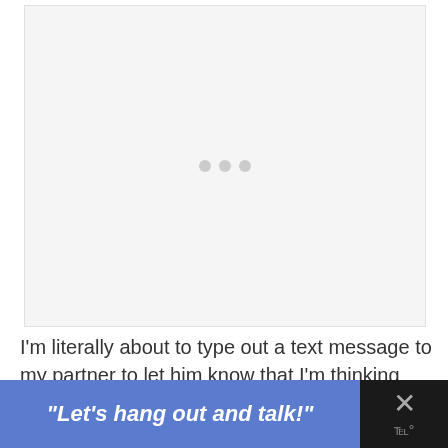[Figure (other): Light gray placeholder image area with three small gray loading dots in the center]
I'm literally about to type out a text message to my partner to let him know that I'm thinking about him and I get a me
"Let's hang out and talk!"